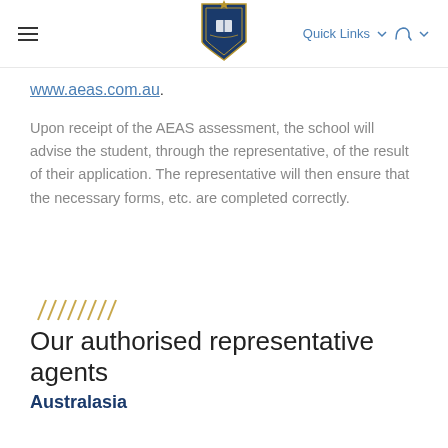Menu | Logo | Quick Links
www.aeas.com.au.
Upon receipt of the AEAS assessment, the school will advise the student, through the representative, of the result of their application. The representative will then ensure that the necessary forms, etc. are completed correctly.
[Figure (illustration): Decorative diagonal slash marks in gold/tan color]
Our authorised representative agents
Australasia